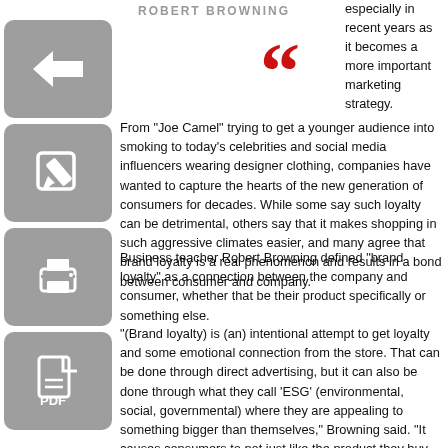ROBERT BROWNING
[Figure (illustration): Red stylized quotation mark symbol]
[Figure (illustration): Gray back arrow icon button]
[Figure (illustration): Gray edit/pencil icon button]
[Figure (illustration): Gray print icon button]
[Figure (illustration): Gray PDF/document icon button]
especially in recent years as it becomes a more important marketing strategy. From “Joe Camel” trying to get a younger audience into smoking to today’s celebrities and social media influencers wearing designer clothing, companies have wanted to capture the hearts of the new generation of consumers for decades. While some say such loyalty can be detrimental, others say that it makes shopping in such aggressive climates easier, and many agree that brand loyalty is a real phenomenon and results in a bond between consumer and company.
Business teacher Robert Browning defined “brand loyalty” as a connection between the company and consumer, whether that be their product specifically or something else.
“(Brand loyalty) is (an) intentional attempt to get loyalty and some emotional connection from the store. That can be done through direct advertising, but it can also be done through what they call ‘ESG’ (environmental, social, governmental) where they are appealing to something bigger than themselves,” Browning said. “It causes consumers to not just like the product they buy but also have some bias in favor of the company itself as well.”